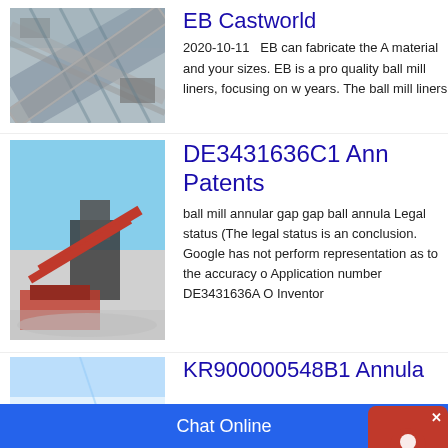[Figure (photo): Industrial conveyor belt system at a mining or construction site, aerial/side view showing metal framework and belt.]
EB Castworld
2020-10-11   EB can fabricate the A material and your sizes. EB is a pro quality ball mill liners, focusing on w years. The ball mill liners
[Figure (photo): Mining equipment with conveyor belts and machinery at an outdoor quarry site, red and black equipment visible.]
DE3431636C1 Ann Patents
ball mill annular gap gap ball annula Legal status (The legal status is an conclusion. Google has not perform representation as to the accuracy o Application number DE3431636A O Inventor
[Figure (photo): Partial view of industrial equipment at a site, light blue sky visible in background.]
KR900000548B1 Annula
Chat Online